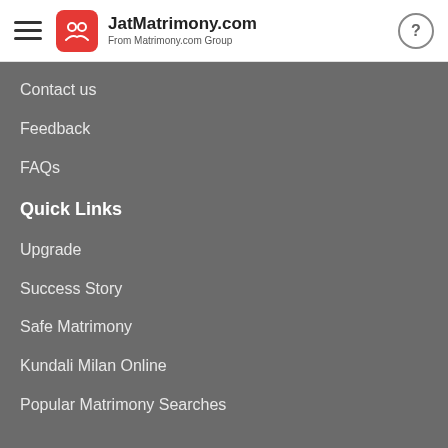JatMatrimony.com — From Matrimony.com Group
Contact us
Feedback
FAQs
Quick Links
Upgrade
Success Story
Safe Matrimony
Kundali Milan Online
Popular Matrimony Searches